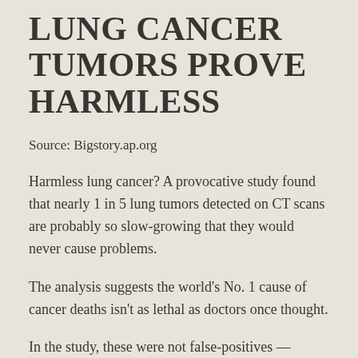LUNG CANCER TUMORS PROVE HARMLESS
Source: Bigstory.ap.org
Harmless lung cancer? A provocative study found that nearly 1 in 5 lung tumors detected on CT scans are probably so slow-growing that they would never cause problems.
The analysis suggests the world's No. 1 cause of cancer deaths isn't as lethal as doctors once thought.
In the study, these were not false-positives —